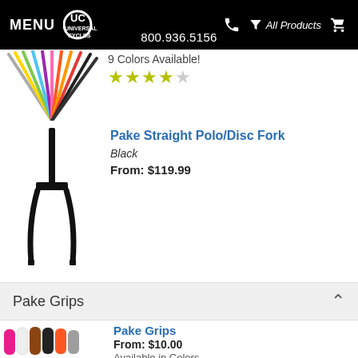MENU | UC UNIVERSAL CYCLES | 800.936.5156 | All Products
[Figure (photo): Partial view of colorful bicycle fenders in multiple colors (yellow, green, blue, purple, red, orange, black) fanned out]
9 Colors Available!
[Figure (other): 4 filled yellow stars and 1 empty star rating]
[Figure (photo): Black Pake Straight Polo/Disc Fork bicycle fork product photo]
Pake Straight Polo/Disc Fork
Black
From: $119.99
Pake Grips
[Figure (photo): Pake Grips product photo showing multiple handlebar grips in various colors: pink, white, brown, black, orange, gray]
Pake Grips
From: $10.00
Available in Colors